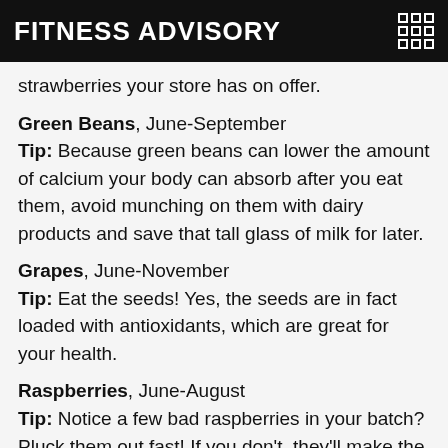FITNESS ADVISORY
strawberries your store has on offer.
Green Beans, June-September
Tip: Because green beans can lower the amount of calcium your body can absorb after you eat them, avoid munching on them with dairy products and save that tall glass of milk for later.
Grapes, June-November
Tip: Eat the seeds! Yes, the seeds are in fact loaded with antioxidants, which are great for your health.
Raspberries, June-August
Tip: Notice a few bad raspberries in your batch? Pluck them out fast! If you don't, they'll make the raspberries surrounding them perish more quickly.